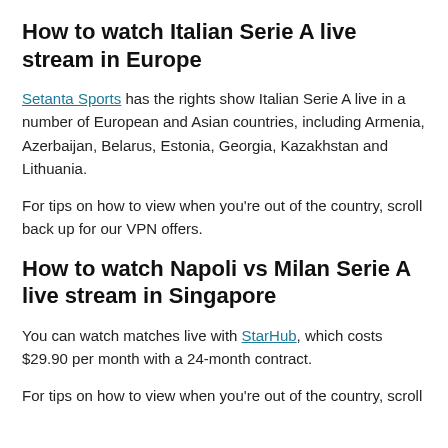How to watch Italian Serie A live stream in Europe
Setanta Sports has the rights show Italian Serie A live in a number of European and Asian countries, including Armenia, Azerbaijan, Belarus, Estonia, Georgia, Kazakhstan and Lithuania.
For tips on how to view when you're out of the country, scroll back up for our VPN offers.
How to watch Napoli vs Milan Serie A live stream in Singapore
You can watch matches live with StarHub, which costs $29.90 per month with a 24-month contract.
For tips on how to view when you're out of the country, scroll